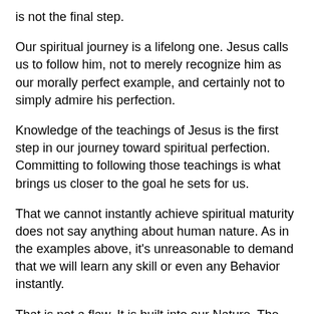is not the final step.
Our spiritual journey is a lifelong one. Jesus calls us to follow him, not to merely recognize him as our morally perfect example, and certainly not to simply admire his perfection.
Knowledge of the teachings of Jesus is the first step in our journey toward spiritual perfection. Committing to following those teachings is what brings us closer to the goal he sets for us.
That we cannot instantly achieve spiritual maturity does not say anything about human nature. As in the examples above, it's unreasonable to demand that we will learn any skill or even any Behavior instantly.
That is not a flaw. It is built into our Nature. The brother of Jesus, James, wrote that when we are tested with trials, we become stronger. This is because we learn from them, and they teach us.
So too, with the lessons Jesus teaches us. As a follower of